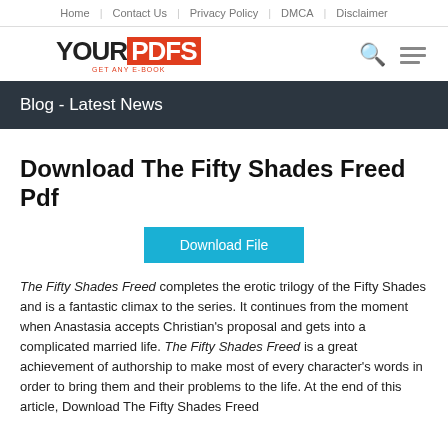Home | Contact Us | Privacy Policy | DMCA | Disclaimer
[Figure (logo): YourPDFs logo with red box around PDFS text and tagline GET ANY E-BOOK]
Blog - Latest News
Download The Fifty Shades Freed Pdf
Download File
The Fifty Shades Freed completes the erotic trilogy of the Fifty Shades and is a fantastic climax to the series. It continues from the moment when Anastasia accepts Christian's proposal and gets into a complicated married life. The Fifty Shades Freed is a great achievement of authorship to make most of every character's words in order to bring them and their problems to the life. At the end of this article, Download The Fifty Shades Freed